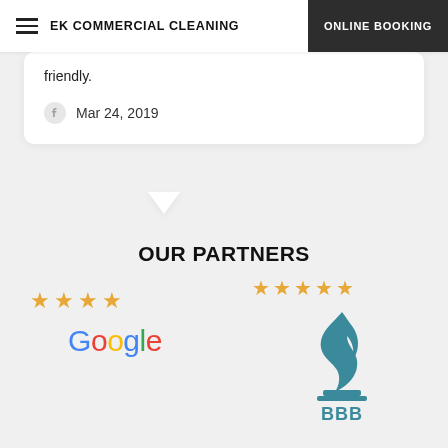EK COMMERCIAL CLEANING | ONLINE BOOKING
friendly.
Mar 24, 2019
OUR PARTNERS
[Figure (logo): Google logo with 4 gold stars rating]
[Figure (logo): BBB (Better Business Bureau) logo with 5 gold stars rating]